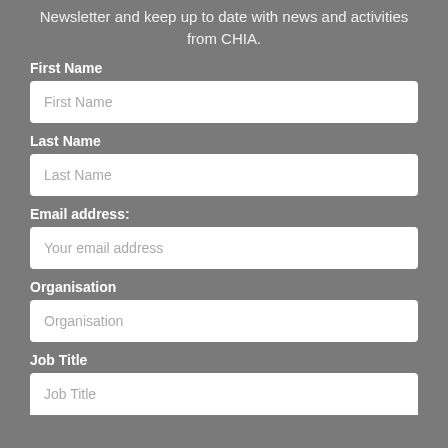Newsletter and keep up to date with news and activities from CHIA.
First Name
First Name
Last Name
Last Name
Email address:
Your email address
Organisation
Organisation
Job Title
Job Title